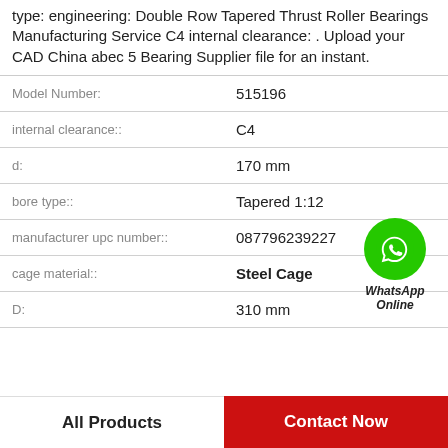type: engineering: Double Row Tapered Thrust Roller Bearings Manufacturing Service C4 internal clearance: . Upload your CAD China abec 5 Bearing Supplier file for an instant.
| Property | Value |
| --- | --- |
| Model Number: | 515196 |
| internal clearance:: | C4 |
| d: | 170 mm |
| bore type:: | Tapered 1:12 |
| manufacturer upc number:: | 087796239227 |
| cage material:: | Steel Cage |
| D: | 310 mm |
[Figure (logo): WhatsApp Online green circle icon with phone handset, labeled WhatsApp Online]
All Products
Contact Now